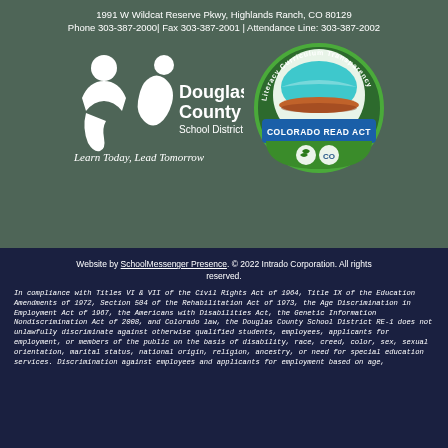1991 W Wildcat Reserve Pkwy, Highlands Ranch, CO 80129
Phone 303-387-2000| Fax 303-387-2001 | Attendance Line: 303-387-2002
[Figure (logo): Douglas County School District logo with tagline 'Learn Today, Lead Tomorrow']
[Figure (logo): Colorado Read Act - Literacy Curriculum Transparency circular badge with open book graphic]
Website by SchoolMessenger Presence. © 2022 Intrado Corporation. All rights reserved.
In compliance with Titles VI & VII of the Civil Rights Act of 1964, Title IX of the Education Amendments of 1972, Section 504 of the Rehabilitation Act of 1973, the Age Discrimination in Employment Act of 1967, the Americans with Disabilities Act, the Genetic Information Nondiscrimination Act of 2008, and Colorado law, the Douglas County School District RE-1 does not unlawfully discriminate against otherwise qualified students, employees, applicants for employment, or members of the public on the basis of disability, race, creed, color, sex, sexual orientation, marital status, national origin, religion, ancestry, or need for special education services. Discrimination against employees and applicants for employment based on age,